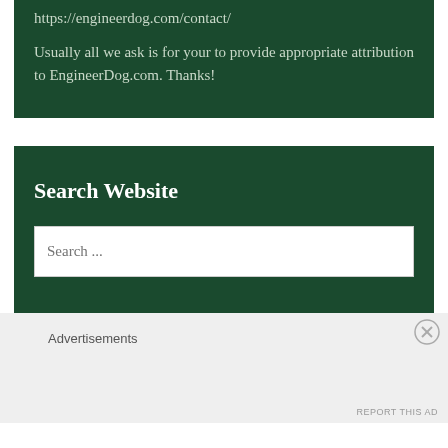https://engineerdog.com/contact/
Usually all we ask is for your to provide appropriate attribution to EngineerDog.com. Thanks!
Search Website
Search ...
Advertisements